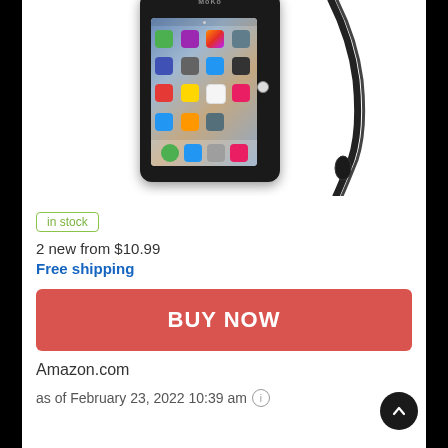[Figure (photo): Product photo of a black waterproof tablet case (MoKo brand) containing an iPad mini showing app icons on screen, with a black wrist strap attached, on white background.]
in stock
2 new from $10.99
Free shipping
BUY NOW
Amazon.com
as of February 23, 2022 10:39 am